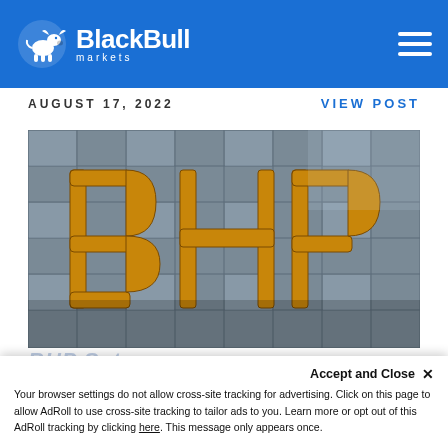BlackBull markets
AUGUST 17, 2022
VIEW POST
[Figure (photo): BHP large golden letter signage on a glass-and-steel building facade]
Accept and Close ×
Your browser settings do not allow cross-site tracking for advertising. Click on this page to allow AdRoll to use cross-site tracking to tailor ads to you. Learn more or opt out of this AdRoll tracking by clicking here. This message only appears once.